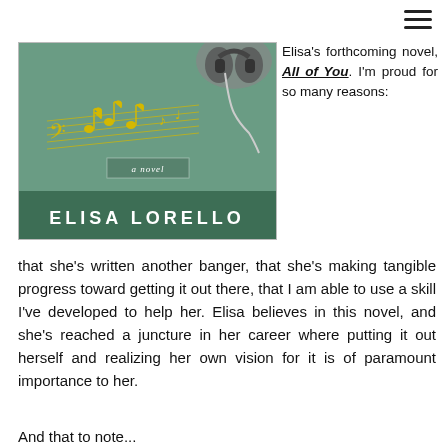[Figure (illustration): Book cover for 'All of You' by Elisa Lorello: green background with music notes, headphones, text 'a novel' and author name 'ELISA LORELLO' in white on dark green banner]
Elisa's forthcoming novel, All of You. I'm proud for so many reasons: that she's written another banger, that she's making tangible progress toward getting it out there, that I am able to use a skill I've developed to help her. Elisa believes in this novel, and she's reached a juncture in her career where putting it out herself and realizing her own vision for it is of paramount importance to her.
And that to note...